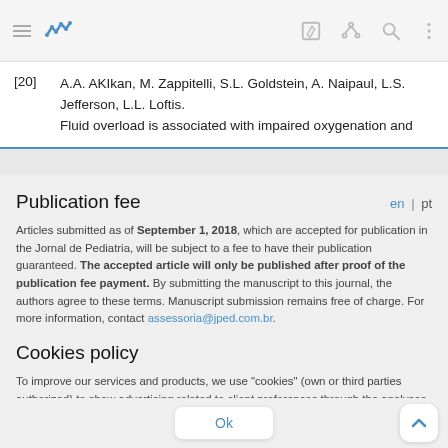Toolbar with menu, wave icon, edit, share, search, more options
[20] A.A. AKIkan, M. Zappitelli, S.L. Goldstein, A. Naipaul, L.S. Jefferson, L.L. Loftis. Fluid overload is associated with impaired oxygenation and
Publication fee
Articles submitted as of September 1, 2018, which are accepted for publication in the Jornal de Pediatria, will be subject to a fee to have their publication guaranteed. The accepted article will only be published after proof of the publication fee payment. By submitting the manuscript to this journal, the authors agree to these terms. Manuscript submission remains free of charge. For more information, contact assessoria@jped.com.br.
Cookies policy
To improve our services and products, we use "cookies" (own or third parties authorized) to show advertising related to client preferences through the analyses of navigation customer behavior. Continuing navigation will be considered as acceptance of this use. You can change the settings or obtain more information by clicking here.
Ok